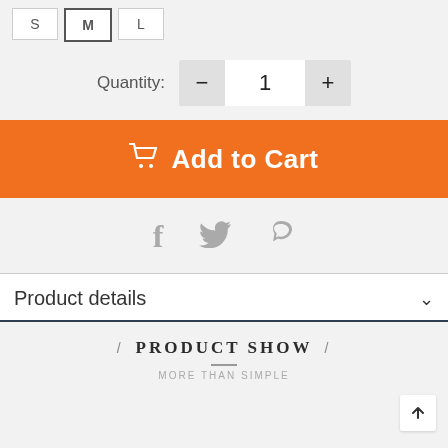[Figure (screenshot): Size selector buttons showing S, M (selected/active), and L options]
Quantity:
[Figure (screenshot): Quantity selector with minus button, input showing 1, and plus button]
Add to Cart
[Figure (screenshot): Social sharing icons: Facebook (f), Twitter (bird), Pinterest (p)]
Product details
/ PRODUCT SHOW /
MORE THAN SIMPLE